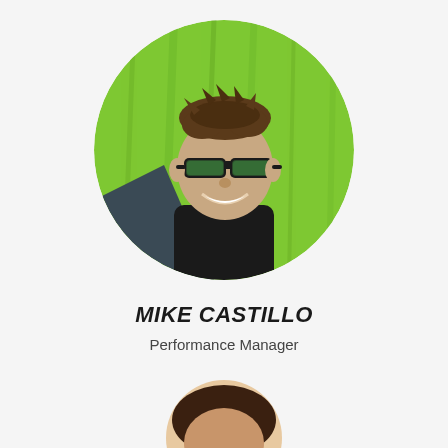[Figure (photo): Circular profile photo of Mike Castillo — a man wearing sunglasses and a black sleeveless shirt, smiling, with a bright green background and a dark triangular shape in the lower left of the circle.]
MIKE CASTILLO
Performance Manager
[Figure (photo): Partially visible circular profile photo of a second person (only the top of the head visible at the bottom of the page).]